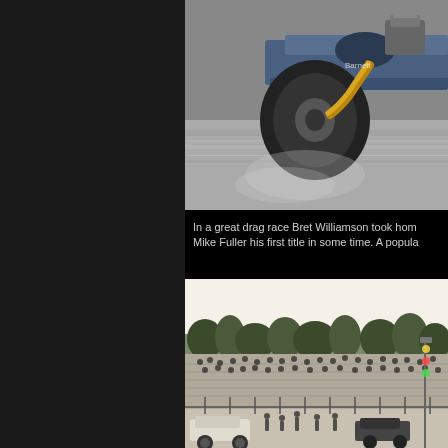[Figure (photo): Close-up action photo of a drag racing car on the track, showing large rear tire and exhaust pipe, motion blur on pavement]
In a great drag race Bret Williamson took hom... Mike Fuller his first title in some time. A popula...
[Figure (photo): Wide shot of drag racing event with spectators in bleachers, cars lined up on the track, trees in background, dusk lighting]